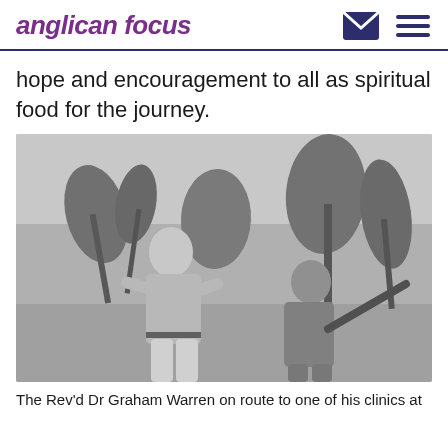anglican focus
hope and encouragement to all as spiritual food for the journey.
[Figure (photo): Black and white photograph of two men outdoors in a bush/outback setting with trees in the background. One man (The Rev'd Dr Graham Warren) stands facing the camera smiling with hands on hips, wearing a light shirt and trousers. The other man stands with his back to the camera holding a stick or tool.]
The Rev'd Dr Graham Warren on route to one of his clinics at